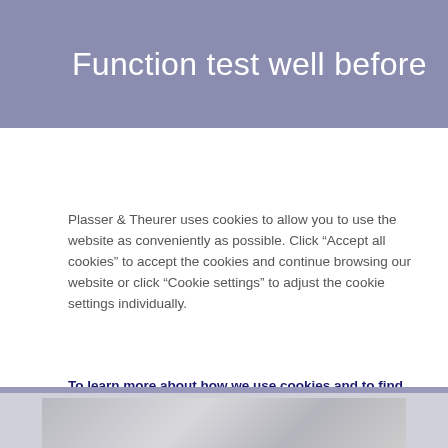Function test well before
Plasser & Theurer uses cookies to allow you to use the website as conveniently as possible. Click “Accept all cookies” to accept the cookies and continue browsing our website or click “Cookie settings” to adjust the cookie settings individually.
To learn more about how we use cookies and to find information on your rights as a user, please read our Privacy Statement.
Cookie settings
Accept all cookies
[Figure (photo): Partial view of a metallic surface, likely railway machinery, at the bottom of the page]